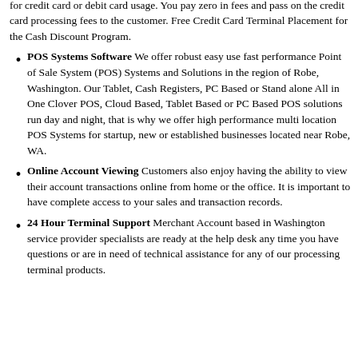your credit card transaction fees by signing up for our Merchant Cash Discount Program Robe, Washington. In the cash discount program your clients, customers pay all of your credit card transaction fees. You surcharge for credit card or debit card usage. You pay zero in fees and pass on the credit card processing fees to the customer. Free Credit Card Terminal Placement for the Cash Discount Program.
POS Systems Software We offer robust easy use fast performance Point of Sale System (POS) Systems and Solutions in the region of Robe, Washington. Our Tablet, Cash Registers, PC Based or Stand alone All in One Clover POS, Cloud Based, Tablet Based or PC Based POS solutions run day and night, that is why we offer high performance multi location POS Systems for startup, new or established businesses located near Robe, WA.
Online Account Viewing Customers also enjoy having the ability to view their account transactions online from home or the office. It is important to have complete access to your sales and transaction records.
24 Hour Terminal Support Merchant Account based in Washington service provider specialists are ready at the help desk any time you have questions or are in need of technical assistance for any of our processing terminal products.